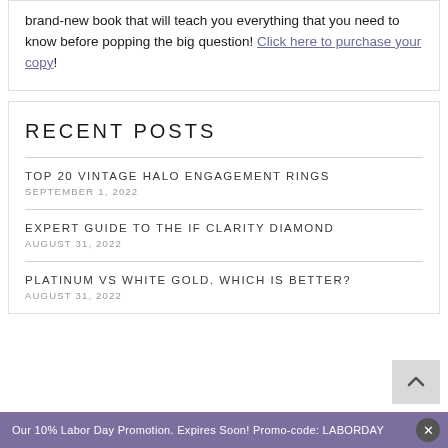brand-new book that will teach you everything that you need to know before popping the big question! Click here to purchase your copy!
RECENT POSTS
TOP 20 VINTAGE HALO ENGAGEMENT RINGS
SEPTEMBER 1, 2022
EXPERT GUIDE TO THE IF CLARITY DIAMOND
AUGUST 31, 2022
PLATINUM VS WHITE GOLD. WHICH IS BETTER?
AUGUST 31, 2022
Our 10% Labor Day Promotion. Expires Soon! Promo-code: LABORDAY